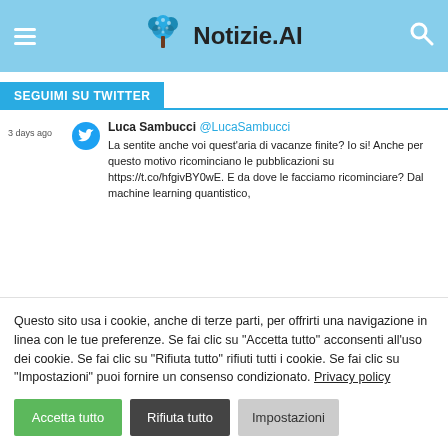Notizie.AI
SEGUIMI SU TWITTER
3 days ago  Luca Sambucci @LucaSambucci
La sentite anche voi quest'aria di vacanze finite? Io si! Anche per questo motivo ricominciano le pubblicazioni su https://t.co/hfgivBY0wE. E da dove le facciamo ricominciare? Dal machine learning quantistico,
Questo sito usa i cookie, anche di terze parti, per offrirti una navigazione in linea con le tue preferenze. Se fai clic su "Accetta tutto" acconsenti all'uso dei cookie. Se fai clic su "Rifiuta tutto" rifiuti tutti i cookie. Se fai clic su "Impostazioni" puoi fornire un consenso condizionato. Privacy policy
Accetta tutto
Rifiuta tutto
Impostazioni